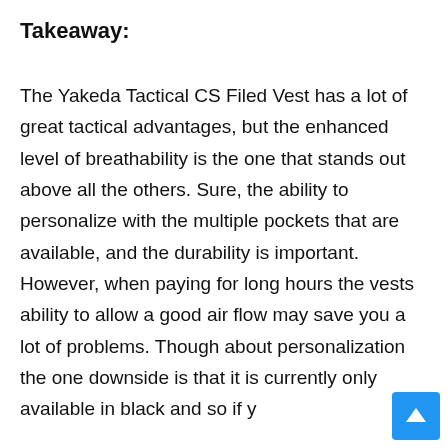Takeaway:
The Yakeda Tactical CS Filed Vest has a lot of great tactical advantages, but the enhanced level of breathability is the one that stands out above all the others. Sure, the ability to personalize with the multiple pockets that are available, and the durability is important. However, when paying for long hours the vests ability to allow a good air flow may save you a lot of problems. Though about personalization the one downside is that it is currently only available in black and so if you are looking for a vest that molds into your